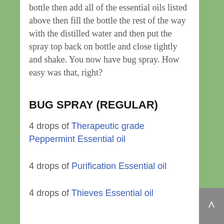bottle then add all of the essential oils listed above then fill the bottle the rest of the way with the distilled water and then put the spray top back on bottle and close tightly and shake.  You now have bug spray.  How easy was that, right?
BUG SPRAY (REGULAR)
4 drops of Therapeutic grade Peppermint Essential oil
4 drops of Purification Essential oil
4 drops of Thieves Essential oil